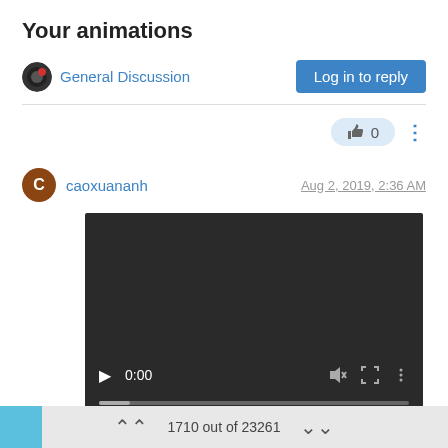Your animations
General Discussion
Log in to reply
0
caoxuananh
Aug 2, 2019, 2:36 AM
[Figure (screenshot): Video player showing 0:00 with play button, mute icon, fullscreen icon, and more options. Progress bar at bottom.]
To download this video just click with right mouse button on this link and select "Save link as..."
1710 out of 23261